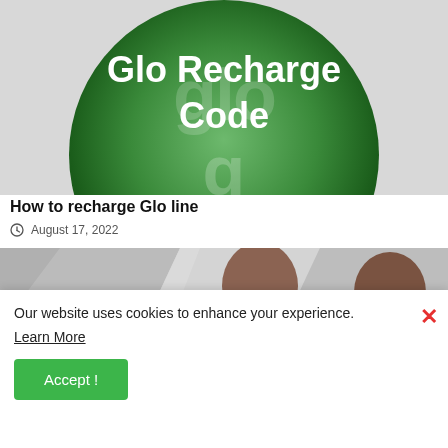[Figure (illustration): Glo Recharge Code banner image: green circular Glo logo on grey/white background with bold white text reading 'Glo Recharge Code']
How to recharge Glo line
August 17, 2022
[Figure (photo): DLS branded promotional image showing two young men in red sports jerseys smiling, with large red letters 'DLS' visible at bottom left, on a geometric grey/white background]
Our website uses cookies to enhance your experience. Learn More
Accept !